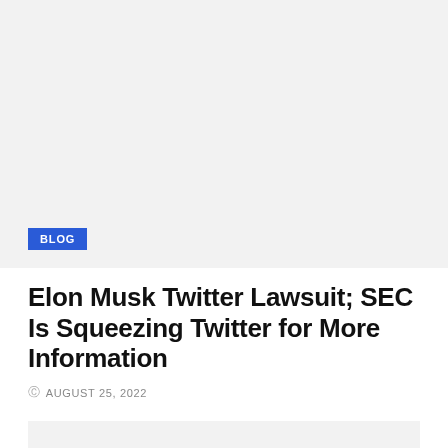[Figure (photo): Large light gray placeholder image block at the top of the page]
BLOG
Elon Musk Twitter Lawsuit; SEC Is Squeezing Twitter for More Information
AUGUST 25, 2022
[Figure (photo): Light gray placeholder image block at the bottom of the page]